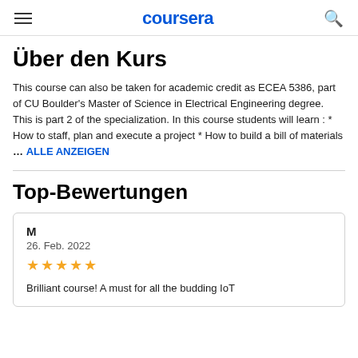coursera
Über den Kurs
This course can also be taken for academic credit as ECEA 5386, part of CU Boulder's Master of Science in Electrical Engineering degree. This is part 2 of the specialization. In this course students will learn : * How to staff, plan and execute a project * How to build a bill of materials ... ALLE ANZEIGEN
Top-Bewertungen
M
26. Feb. 2022
★★★★★
Brilliant course! A must for all the budding IoT